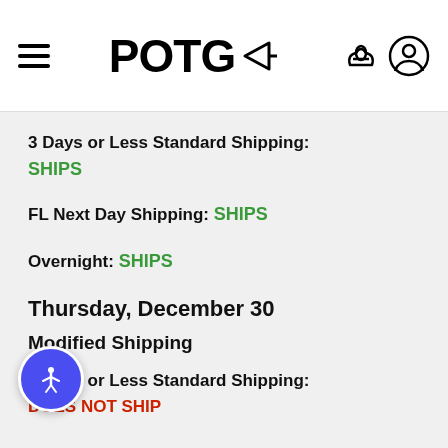POTG (logo with basket and user icons)
3 Days or Less Standard Shipping: SHIPS
FL Next Day Shipping: SHIPS
Overnight: SHIPS
Thursday, December 30
Modified Shipping
3 Days or Less Standard Shipping: DOES NOT SHIP